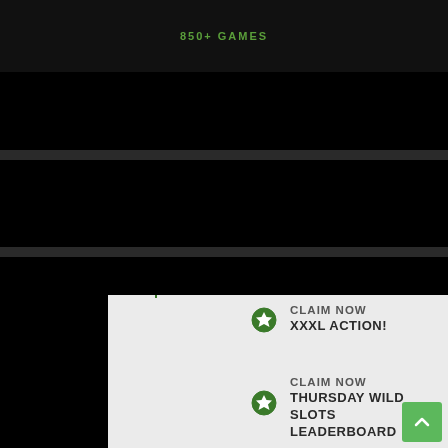[Figure (screenshot): Dark banner with '850+ GAMES' text in green]
CLAIM NOW
XXXL ACTION!
CLAIM NOW
THURSDAY WILD SLOTS LEADERBOARD
CLAIM NOW
AUGUST ACTION
CLAIM NOW
COLOSSAL CASH LEADERBOARD